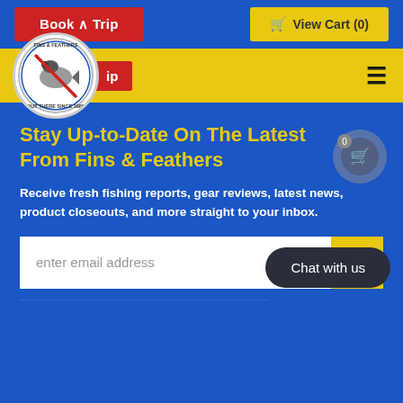[Figure (screenshot): Top navigation bar of Fins & Feathers website with blue background, red 'Book A Trip' button on left, yellow 'View Cart (0)' button on right]
[Figure (logo): Fins & Feathers circular logo with fish/bird illustration and text 'OUT THERE SINCE 1989']
Stay Up-to-Date On The Latest From Fins & Feathers
Receive fresh fishing reports, gear reviews, latest news, product closeouts, and more straight to your inbox.
enter email address
Chat with us